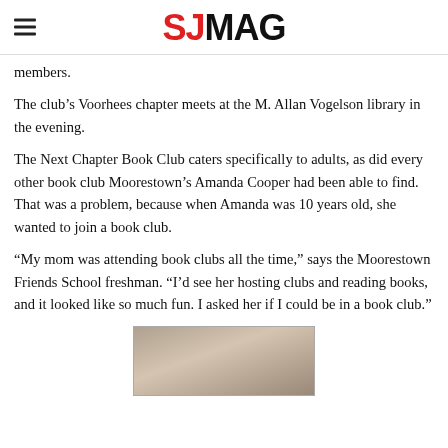SJMAG
members.
The club's Voorhees chapter meets at the M. Allan Vogelson library in the evening.
The Next Chapter Book Club caters specifically to adults, as did every other book club Moorestown's Amanda Cooper had been able to find. That was a problem, because when Amanda was 10 years old, she wanted to join a book club.
“My mom was attending book clubs all the time,” says the Moorestown Friends School freshman. “I’d see her hosting clubs and reading books, and it looked like so much fun. I asked her if I could be in a book club.”
[Figure (photo): Photo of a person, partially visible at the bottom of the page]